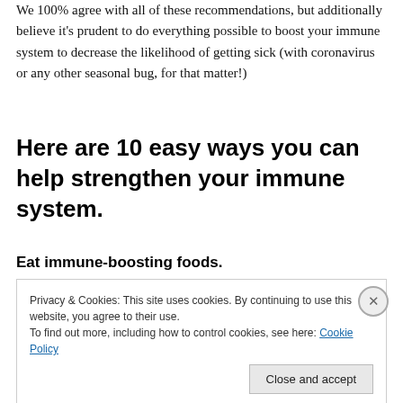We 100% agree with all of these recommendations, but additionally believe it's prudent to do everything possible to boost your immune system to decrease the likelihood of getting sick (with coronavirus or any other seasonal bug, for that matter!)
Here are 10 easy ways you can help strengthen your immune system.
Eat immune-boosting foods.
Privacy & Cookies: This site uses cookies. By continuing to use this website, you agree to their use.
To find out more, including how to control cookies, see here: Cookie Policy
Close and accept